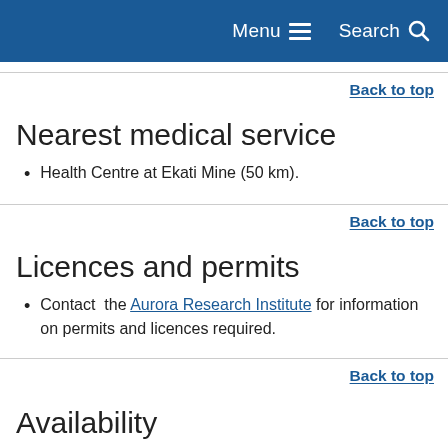Menu  Search
Back to top
Nearest medical service
Health Centre at Ekati Mine (50 km).
Back to top
Licences and permits
Contact  the Aurora Research Institute for information on permits and licences required.
Back to top
Availability